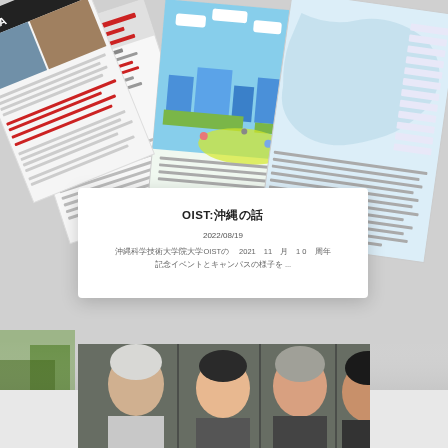[Figure (photo): Collage of colorful OIST brochures and documents spread out, showing various illustrated and text pages including maps, infographics, and publication covers]
OIST:沖縄の話
2022/08/19
沖縄科学技術大学院大学OISTの2021年11月の10周年記念イベントとキャンパスの様子を ...
[Figure (photo): Group photo showing four people from shoulders up - an older man with white hair, two women with dark hair, and an Asian woman on the right, photographed outdoors]